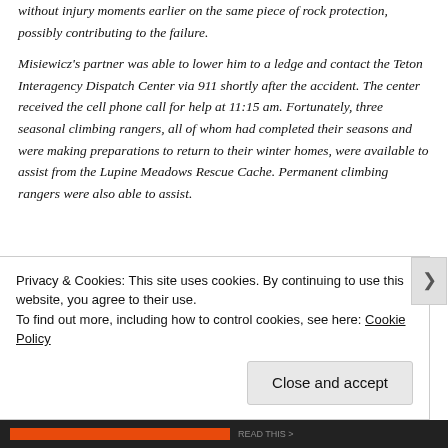without injury moments earlier on the same piece of rock protection, possibly contributing to the failure.
Misiewicz's partner was able to lower him to a ledge and contact the Teton Interagency Dispatch Center via 911 shortly after the accident. The center received the cell phone call for help at 11:15 am. Fortunately, three seasonal climbing rangers, all of whom had completed their seasons and were making preparations to return to their winter homes, were available to assist from the Lupine Meadows Rescue Cache. Permanent climbing rangers were also able to assist.
Privacy & Cookies: This site uses cookies. By continuing to use this website, you agree to their use.
To find out more, including how to control cookies, see here: Cookie Policy
Close and accept